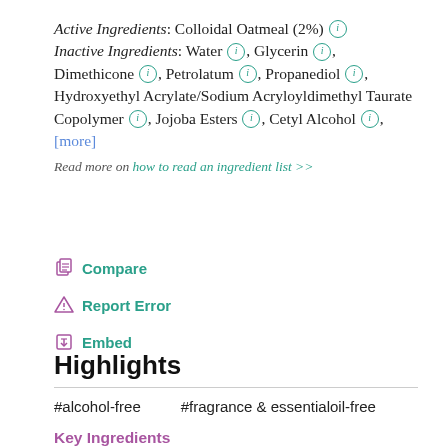Active Ingredients: Colloidal Oatmeal (2%) ⓘ Inactive Ingredients: Water ⓘ, Glycerin ⓘ, Dimethicone ⓘ, Petrolatum ⓘ, Propanediol ⓘ, Hydroxyethyl Acrylate/Sodium Acryloyldimethyl Taurate Copolymer ⓘ, Jojoba Esters ⓘ, Cetyl Alcohol ⓘ, [more]
Read more on how to read an ingredient list >>
Compare
Report Error
Embed
Highlights
#alcohol-free    #fragrance & essentialoil-free
Key Ingredients
Active Ingredients: Colloidal Oatmeal (2%) ⓘ A...